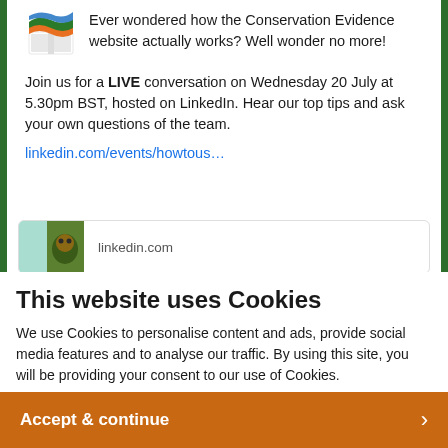[Figure (logo): Conservation Evidence logo — stacked book icon with orange and green wave on top and green tree/leaf below]
Ever wondered how the Conservation Evidence website actually works? Well wonder no more!
Join us for a LIVE conversation on Wednesday 20 July at 5.30pm BST, hosted on LinkedIn. Hear our top tips and ask your own questions of the team.
linkedin.com/events/howtous…
[Figure (screenshot): LinkedIn event preview card thumbnail with teal/green nature background and linkedin.com domain label]
This website uses Cookies
We use Cookies to personalise content and ads, provide social media features and to analyse our traffic. By using this site, you will be providing your consent to our use of Cookies.
Accept & continue